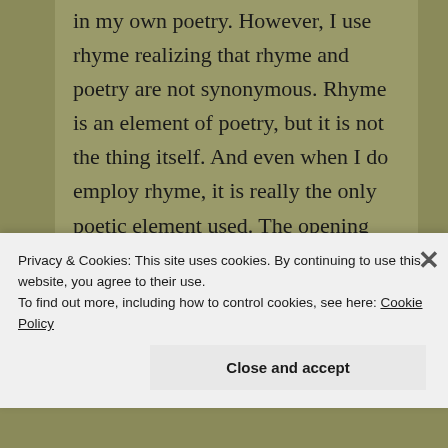in my own poetry. However, I use rhyme realizing that rhyme and poetry are not synonymous. Rhyme is an element of poetry, but it is not the thing itself. And even when I do employ rhyme, it is really the only poetic element used. The opening poem is an example of that. In it, you will notice metaphor, assonance
Privacy & Cookies: This site uses cookies. By continuing to use this website, you agree to their use.
To find out more, including how to control cookies, see here: Cookie Policy
Close and accept